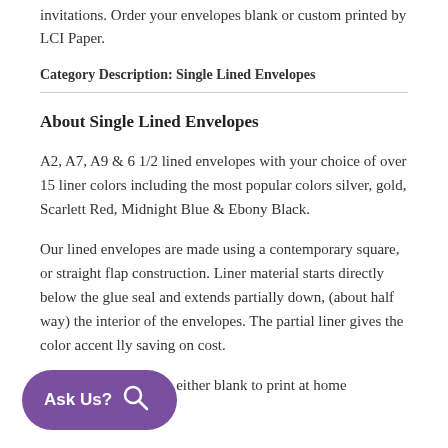invitations. Order your envelopes blank or custom printed by LCI Paper.
Category Description: Single Lined Envelopes
About Single Lined Envelopes
A2, A7, A9 & 6 1/2 lined envelopes with your choice of over 15 liner colors including the most popular colors silver, gold, Scarlett Red, Midnight Blue & Ebony Black.
Our lined envelopes are made using a contemporary square, or straight flap construction. Liner material starts directly below the glue seal and extends partially down, (about half way) the interior of the envelopes. The partial liner gives the color accent lly saving on cost.
Order lined envelopes either blank to print at home